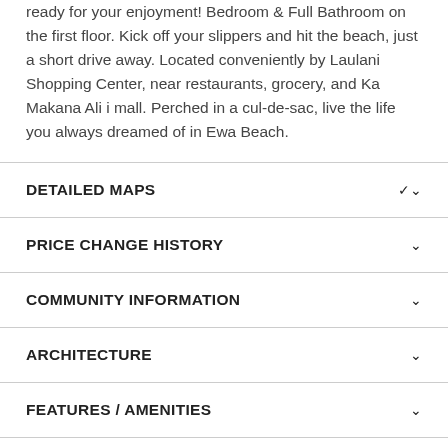ready for your enjoyment! Bedroom & Full Bathroom on the first floor. Kick off your slippers and hit the beach, just a short drive away. Located conveniently by Laulani Shopping Center, near restaurants, grocery, and Ka Makana Ali i mall. Perched in a cul-de-sac, live the life you always dreamed of in Ewa Beach.
DETAILED MAPS
PRICE CHANGE HISTORY
COMMUNITY INFORMATION
ARCHITECTURE
FEATURES / AMENITIES
ROOMS